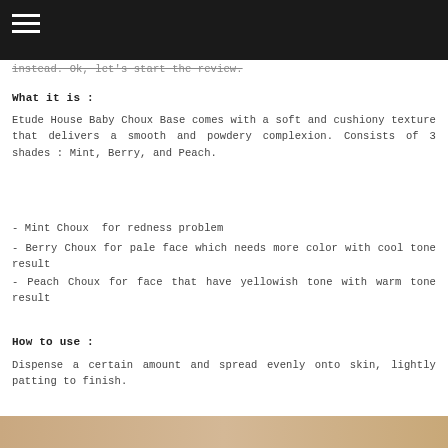instead. Ok, let's start the review.
What it is :
Etude House Baby Choux Base comes with a soft and cushiony texture that delivers a smooth and powdery complexion. Consists of 3 shades : Mint, Berry, and Peach.
- Mint Choux  for redness problem
- Berry Choux  for pale face which needs more color with cool tone result
- Peach Choux  for face that have yellowish tone with warm tone result
How to use :
Dispense a certain amount and spread evenly onto skin, lightly patting to finish.
[Figure (photo): Bottom strip showing product or related image in tan/beige color]